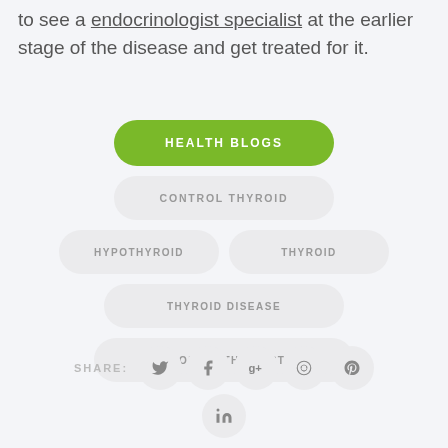to see a endocrinologist specialist at the earlier stage of the disease and get treated for it.
HEALTH BLOGS
CONTROL THYROID
HYPOTHYROID
THYROID
THYROID DISEASE
THYROID MYTHS BUSTED
SHARE: